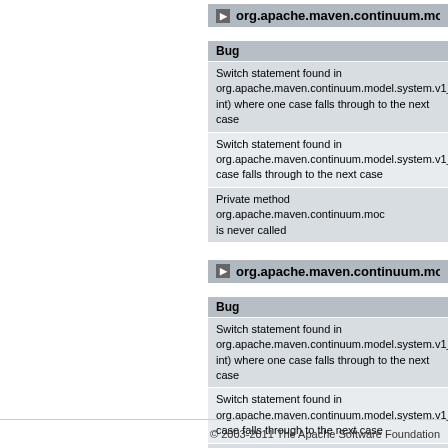org.apache.maven.continuum.mo
Bug
Switch statement found in org.apache.maven.continuum.model.system.v1_0 int) where one case falls through to the next case
Switch statement found in org.apache.maven.continuum.model.system.v1_0 case falls through to the next case
Private method org.apache.maven.continuum.moc is never called
org.apache.maven.continuum.mo
Bug
Switch statement found in org.apache.maven.continuum.model.system.v1_0 int) where one case falls through to the next case
Switch statement found in org.apache.maven.continuum.model.system.v1_0 case falls through to the next case
Private method org.apache.maven.continuum.moc never called
© 2003-2011 The Apache Software Foundation